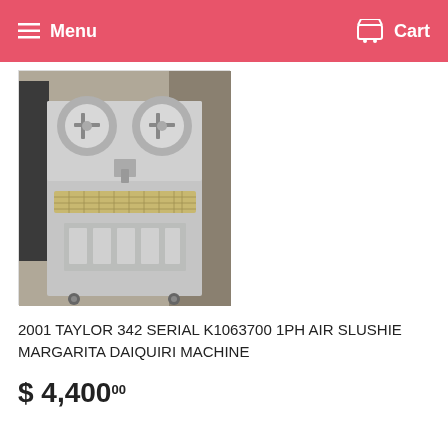Menu   Cart
[Figure (photo): Front view of a 2001 Taylor 342 slushie margarita daiquiri machine, stainless steel, on casters, with two spinning cylinder heads on top and a drip tray at the bottom front, photographed in a warehouse setting.]
2001 TAYLOR 342 SERIAL K1063700 1PH AIR SLUSHIE MARGARITA DAIQUIRI MACHINE
$ 4,400.00